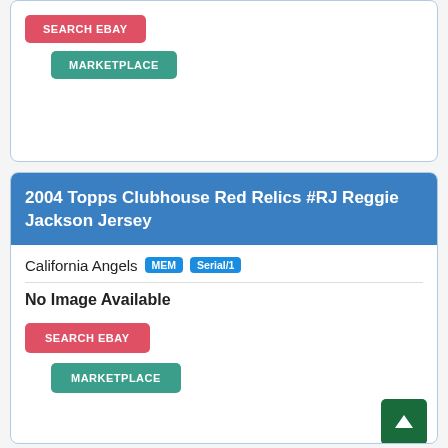[Figure (screenshot): Top card section showing SEARCH EBAY (red button) and MARKETPLACE (teal button) on white card with blue border]
2004 Topps Clubhouse Red Relics #RJ Reggie Jackson Jersey
California Angels MEM Serial/1
No Image Available
[Figure (screenshot): SEARCH EBAY button (red) and MARKETPLACE button (teal) in second card]
[Figure (other): Back to top arrow button (dark green)]